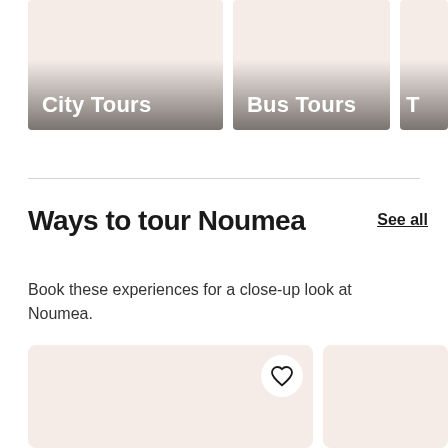[Figure (illustration): Tour category card with pink/beige background showing 'City Tours' label with gradient overlay]
[Figure (illustration): Tour category card with pink/beige background showing 'Bus Tours' label with gradient overlay]
[Figure (illustration): Partially visible third tour category card (label cut off) with pink/beige background]
Ways to tour Noumea
See all
Book these experiences for a close-up look at Noumea.
[Figure (illustration): Experience booking card with pink/beige background and heart/wishlist button]
[Figure (illustration): Partially visible second experience booking card with pink/beige background]